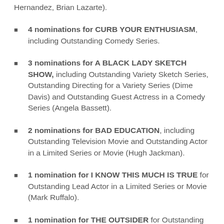Hernandez, Brian Lazarte).
4 nominations for CURB YOUR ENTHUSIASM, including Outstanding Comedy Series.
3 nominations for A BLACK LADY SKETCH SHOW, including Outstanding Variety Sketch Series, Outstanding Directing for a Variety Series (Dime Davis) and Outstanding Guest Actress in a Comedy Series (Angela Bassett).
2 nominations for BAD EDUCATION, including Outstanding Television Movie and Outstanding Actor in a Limited Series or Movie (Hugh Jackman).
1 nomination for I KNOW THIS MUCH IS TRUE for Outstanding Lead Actor in a Limited Series or Movie (Mark Ruffalo).
1 nomination for THE OUTSIDER for Outstanding...